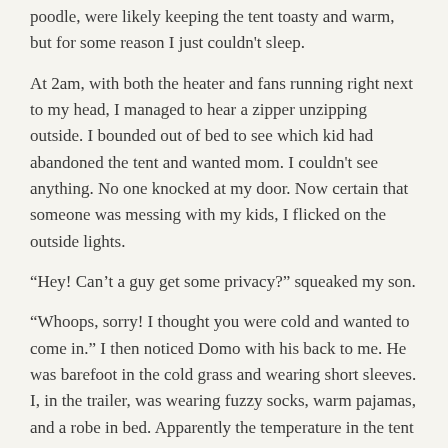poodle, were likely keeping the tent toasty and warm, but for some reason I just couldn't sleep.
At 2am, with both the heater and fans running right next to my head, I managed to hear a zipper unzipping outside.  I bounded out of bed to see which kid had abandoned the tent and wanted mom.  I couldn't see anything.  No one knocked at my door.  Now certain that someone was messing with my kids, I flicked on the outside lights.
“Hey! Can’t a guy get some privacy?” squeaked my son.
“Whoops, sorry! I thought you were cold and wanted to come in.”  I then noticed Domo with his back to me.  He was barefoot in the cold grass and wearing short sleeves.  I, in the trailer, was wearing fuzzy socks, warm pajamas, and a robe in bed.  Apparently the temperature in the tent was not an issue.